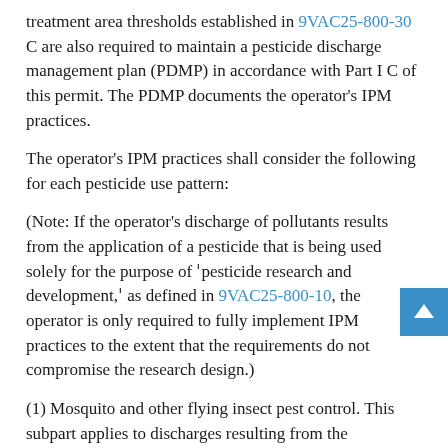treatment area thresholds established in 9VAC25-800-30 C are also required to maintain a pesticide discharge management plan (PDMP) in accordance with Part I C of this permit. The PDMP documents the operator's IPM practices.
The operator's IPM practices shall consider the following for each pesticide use pattern:
(Note: If the operator's discharge of pollutants results from the application of a pesticide that is being used solely for the purpose of "pesticide research and development," as defined in 9VAC25-800-10, the operator is only required to fully implement IPM practices to the extent that the requirements do not compromise the research design.)
(1) Mosquito and other flying insect pest control. This subpart applies to discharges resulting from the application of pesticides to control public